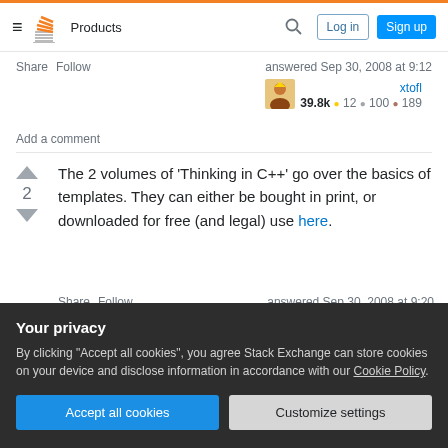Stack Overflow navigation bar with Products, Log in, Sign up buttons
Share Follow   answered Sep 30, 2008 at 9:12   xtofi   39.8k • 12 • 100 • 189
Add a comment
The 2 volumes of 'Thinking in C++' go over the basics of templates. They can either be bought in print, or downloaded for free (and legal) use here.
Share Follow   answered Sep 30, 2008 at 9:20
Your privacy
By clicking "Accept all cookies", you agree Stack Exchange can store cookies on your device and disclose information in accordance with our Cookie Policy.
Accept all cookies   Customize settings